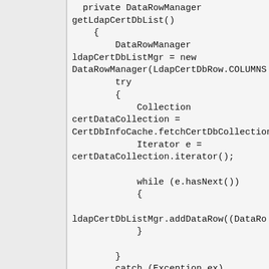[Figure (other): Left sidebar panel, light gray background]
private DataRowManager getLdapCertDbList()
    {
        DataRowManager ldapCertDbListMgr = new DataRowManager(LdapCertDbRow.COLUMNS
        try
        {
            Collection certDataCollection =
CertDbInfoCache.fetchCertDbCollection
            Iterator e =
certDataCollection.iterator();

            while (e.hasNext())
            {

ldapCertDbListMgr.addDataRow((DataRo
            }

        }
        catch (Exception ex)
        {

ErrorMessageService.getService().set
ex.getMessage(), ex);
        }

        return ldapCertDbListMgr;
    }

  public void onComplete(String
strAction, boolean bSuccess, Map
map)